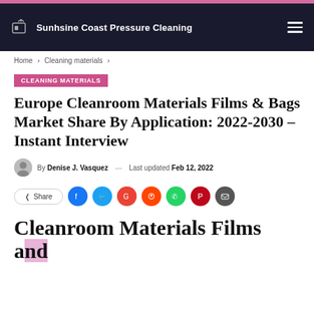Sunhsine Coast Pressure Cleaning
Home > Cleaning materials >
CLEANING MATERIALS
Europe Cleanroom Materials Films & Bags Market Share By Application: 2022-2030 – Instant Interview
By Denise J. Vasquez — Last updated Feb 12, 2022
Share
Cleanroom Materials Films and